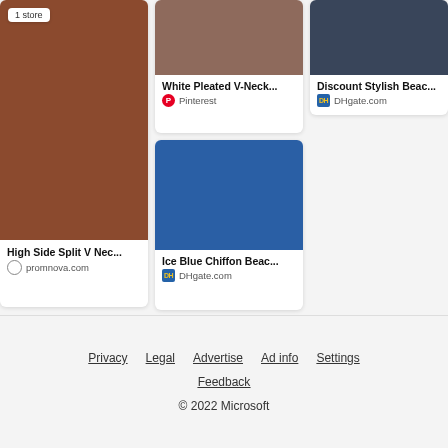[Figure (screenshot): Product card: brown/rust colored image with '1 store' badge]
High Side Split V Nec...
promnova.com
[Figure (screenshot): Product card: brownish image for White Pleated V-Neck]
White Pleated V-Neck...
Pinterest
[Figure (screenshot): Product card: blue image for Ice Blue Chiffon Beach]
Ice Blue Chiffon Beac...
DHgate.com
[Figure (screenshot): Product card top right: dark navy/grey image]
Discount Stylish Beac...
DHgate.com
Privacy  Legal  Advertise  Ad info  Settings  Feedback  © 2022 Microsoft